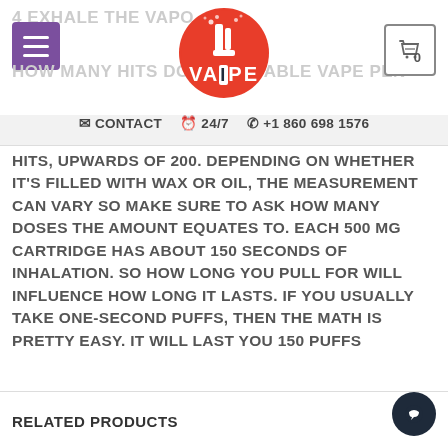4 EXHALE THE VAPOR | HOW MANY HITS DOES A DISPOSABLE VAPE PEN
CONTACT  24/7  +1 860 698 1576
HITS, UPWARDS OF 200. DEPENDING ON WHETHER IT'S FILLED WITH WAX OR OIL, THE MEASUREMENT CAN VARY SO MAKE SURE TO ASK HOW MANY DOSES THE AMOUNT EQUATES TO. EACH 500 MG CARTRIDGE HAS ABOUT 150 SECONDS OF INHALATION. SO HOW LONG YOU PULL FOR WILL INFLUENCE HOW LONG IT LASTS. IF YOU USUALLY TAKE ONE-SECOND PUFFS, THEN THE MATH IS PRETTY EASY. IT WILL LAST YOU 150 PUFFS
RELATED PRODUCTS